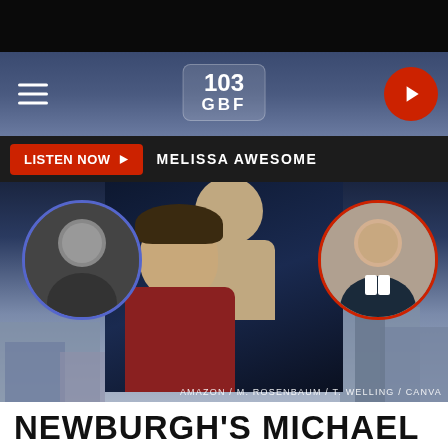[Figure (screenshot): 103 GBF radio station mobile app header with hamburger menu, 103 GBF logo, and red play button]
LISTEN NOW  MELISSA AWESOME
[Figure (photo): Composite image showing Smallville TV show poster with two actors (Tom Welling and Michael Rosenbaum), with circular portrait photos of two men overlaid on city skyline background. Credit: AMAZON / M. ROSENBAUM / T. WELLING / CANVA]
AMAZON / M. ROSENBAUM / T. WELLING / CANVA
NEWBURGH'S MICHAEL